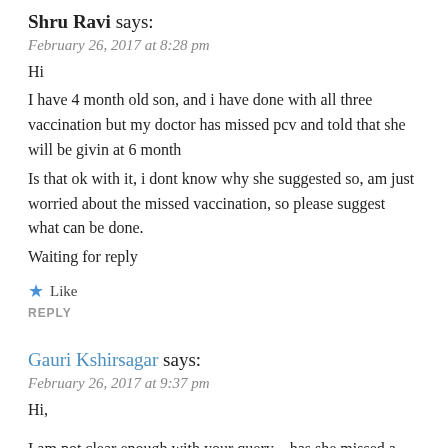Shru Ravi says:
February 26, 2017 at 8:28 pm
Hi
I have 4 month old son, and i have done with all three vaccination but my doctor has missed pcv and told that she will be givin at 6 month
Is that ok with it, i dont know why she suggested so, am just worried about the missed vaccination, so please suggest what can be done.
Waiting for reply
★ Like
REPLY
Gauri Kshirsagar says:
February 26, 2017 at 9:37 pm
Hi,

I am not clear enough with your query…has she missed a dose